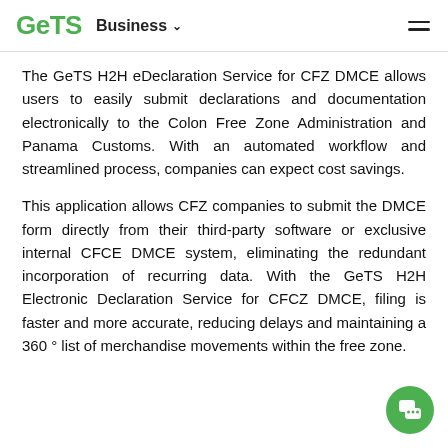GeTS Business ☰
The GeTS H2H eDeclaration Service for CFZ DMCE allows users to easily submit declarations and documentation electronically to the Colon Free Zone Administration and Panama Customs. With an automated workflow and streamlined process, companies can expect cost savings.
This application allows CFZ companies to submit the DMCE form directly from their third-party software or exclusive internal CFCE DMCE system, eliminating the redundant incorporation of recurring data. With the GeTS H2H Electronic Declaration Service for CFCZ DMCE, filing is faster and more accurate, reducing delays and maintaining a 360 ° list of merchandise movements within the free zone.